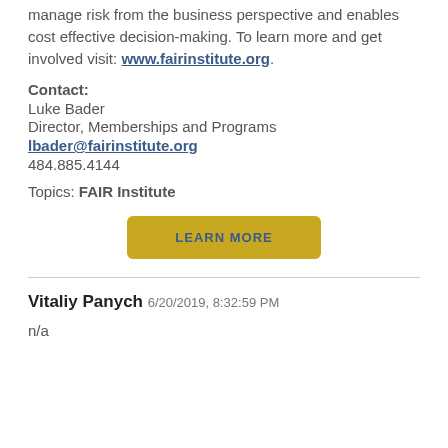manage risk from the business perspective and enables cost effective decision-making. To learn more and get involved visit: www.fairinstitute.org.
Contact:
Luke Bader
Director, Memberships and Programs
lbader@fairinstitute.org
484.885.4144
Topics: FAIR Institute
[Figure (other): Yellow LEARN MORE button]
Vitaliy Panych 6/20/2019, 8:32:59 PM
n/a